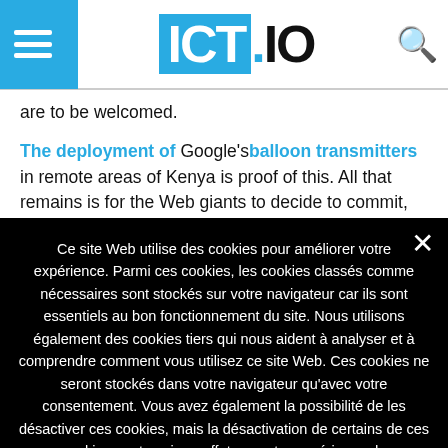ICT.io
are to be welcomed.
The deployment of Google's balloon transmitters in remote areas of Kenya is proof of this. All that remains is for the Web giants to decide to commit, like Google, to reducing this non-accessibility.
Ce site Web utilise des cookies pour améliorer votre expérience. Parmi ces cookies, les cookies classés comme nécessaires sont stockés sur votre navigateur car ils sont essentiels au bon fonctionnement du site. Nous utilisons également des cookies tiers qui nous aident à analyser et à comprendre comment vous utilisez ce site Web. Ces cookies ne seront stockés dans votre navigateur qu'avec votre consentement. Vous avez également la possibilité de les désactiver ces cookies, mais la désactivation de certains de ces cookies peut avoir un effet sur votre expérience de navigation. Lire la suite   Je refuse   J'accepte
Personnaliser les Cookies